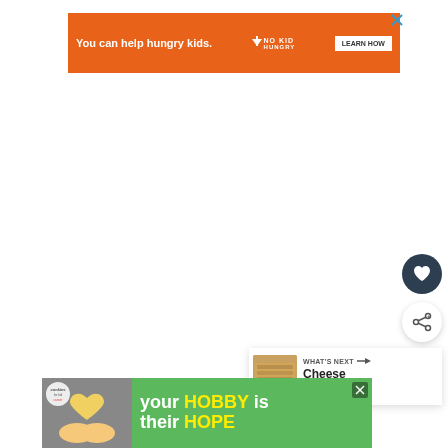[Figure (screenshot): Orange advertisement banner: 'You can help hungry kids.' with No Kid Hungry logo and 'LEARN HOW' button]
[Figure (screenshot): Dark circle button with heart icon (favorite/save button)]
[Figure (screenshot): White circle button with share icon (share button)]
[Figure (screenshot): What's Next panel showing food image with text 'WHAT'S NEXT → Cheese Breadsticks']
[Figure (screenshot): Green advertisement banner at bottom: 'your HOBBY is their HOPE' with cookies for kids cancer logo]